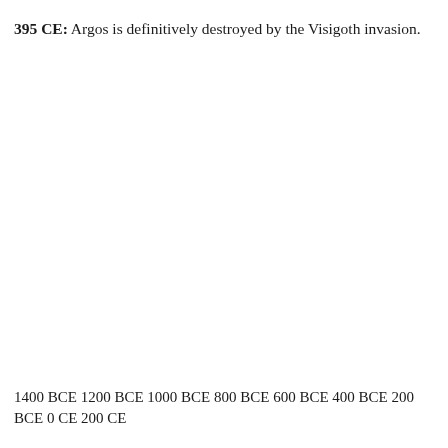395 CE: Argos is definitively destroyed by the Visigoth invasion.
1400 BCE 1200 BCE 1000 BCE 800 BCE 600 BCE 400 BCE 200 BCE 0 CE 200 CE